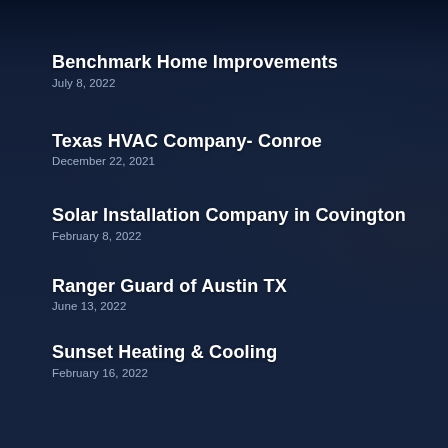Benchmark Home Improvements
July 8, 2022
Texas HVAC Company- Conroe
December 22, 2021
Solar Installation Company in Covington
February 8, 2022
Ranger Guard of Austin TX
June 13, 2022
Sunset Heating & Cooling
February 16, 2022